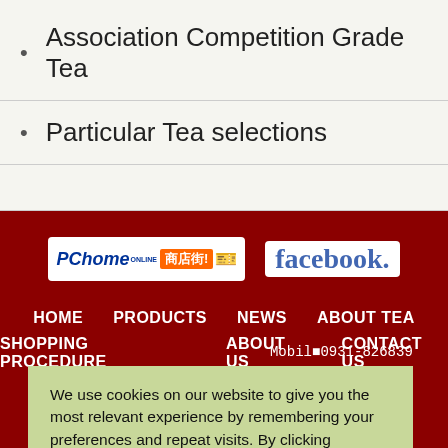Association Competition Grade Tea
Particular Tea selections
[Figure (logo): PChome Online shopping mall logo and Facebook logo on dark red background]
HOME   PRODUCTS   NEWS   ABOUT TEA   SHOPPING PROCEDURE   ABOUT US   CONTACT US
MobilØ0931-826839 Rd., East Dist., O.C.) ØQ0939222612 ©2011 All rights LTD
We use cookies on our website to give you the most relevant experience by remembering your preferences and repeat visits. By clicking “Accept”, you consent to the use of ALL the cookies.
Do not sell my personal information.
Cookie Settings   Accept
yØHong Grand Co.,LTD